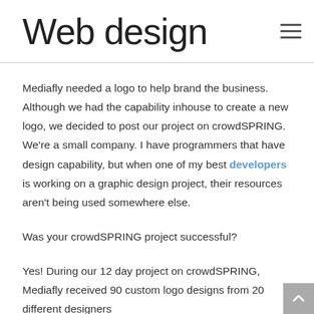Web design
Mediafly needed a logo to help brand the business. Although we had the capability inhouse to create a new logo, we decided to post our project on crowdSPRING. We're a small company. I have programmers that have design capability, but when one of my best developers is working on a graphic design project, their resources aren't being used somewhere else.
Was your crowdSPRING project successful?
Yes! During our 12 day project on crowdSPRING, Mediafly received 90 custom logo designs from 20 different designers